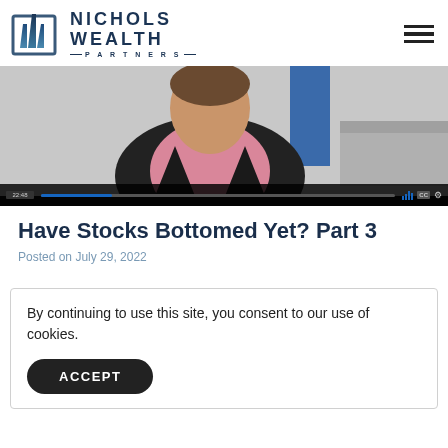[Figure (logo): Nichols Wealth Partners logo with stylized building icon and text]
[Figure (screenshot): Video thumbnail showing a man in a dark suit and pink shirt, with video controls bar at the bottom showing timestamp 22:48]
Have Stocks Bottomed Yet? Part 3
Posted on July 29, 2022
By continuing to use this site, you consent to our use of cookies.